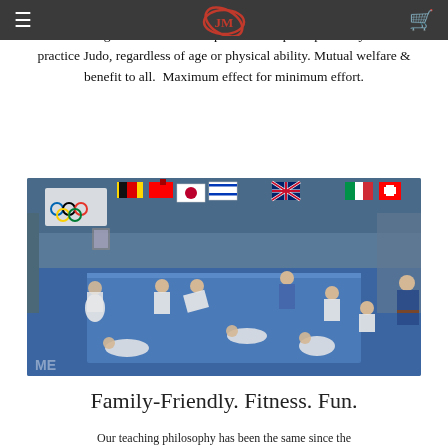Navigation bar with hamburger menu, logo, and cart icon
founded in 2009. We are driven to make champions and make ourselves better through dedication to the practice and principles. Anyone can practice Judo, regardless of age or physical ability. Mutual welfare & benefit to all.  Maximum effect for minimum effort.
[Figure (photo): Indoor judo dojo with children and adults in white and blue judogi practicing on blue mats, with national flags and an Olympic rings banner hanging from the ceiling]
Family-Friendly. Fitness. Fun.
Our teaching philosophy has been the same since the